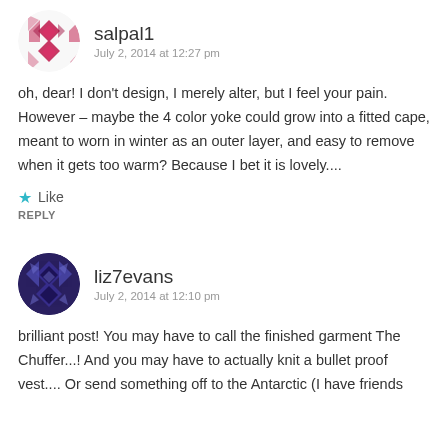[Figure (illustration): User avatar for salpal1 - circular avatar with pink/magenta geometric diamond pattern]
salpal1
July 2, 2014 at 12:27 pm
oh, dear! I don't design, I merely alter, but I feel your pain. However – maybe the 4 color yoke could grow into a fitted cape, meant to worn in winter as an outer layer, and easy to remove when it gets too warm? Because I bet it is lovely....
Like
REPLY
[Figure (illustration): User avatar for liz7evans - circular avatar with dark purple/navy geometric diamond pattern]
liz7evans
July 2, 2014 at 12:10 pm
brilliant post! You may have to call the finished garment The Chuffer...! And you may have to actually knit a bullet proof vest.... Or send something off to the Antarctic (I have friends